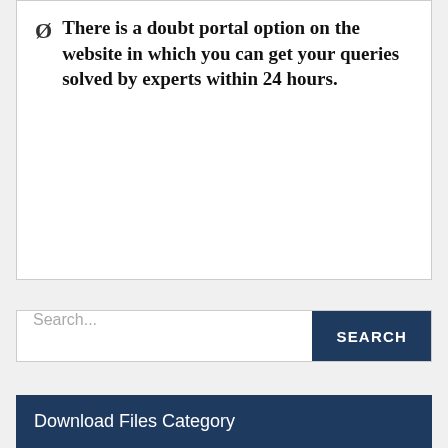There is a doubt portal option on the website in which you can get your queries solved by experts within 24 hours.
Search...
Download Files Category